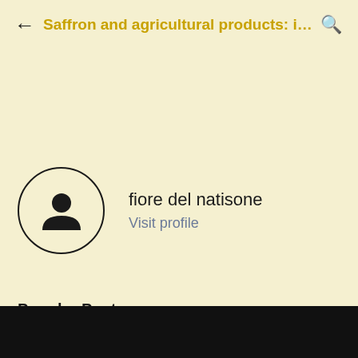← Saffron and agricultural products: infos, prod... 🔍
[Figure (illustration): Circular avatar placeholder icon showing a generic person silhouette (head and shoulders) in black on a light yellow background, enclosed in a circle with black border]
fiore del natisone
Visit profile
Popular Posts
[Figure (photo): A dark/black image strip at the bottom of the page, partially visible]